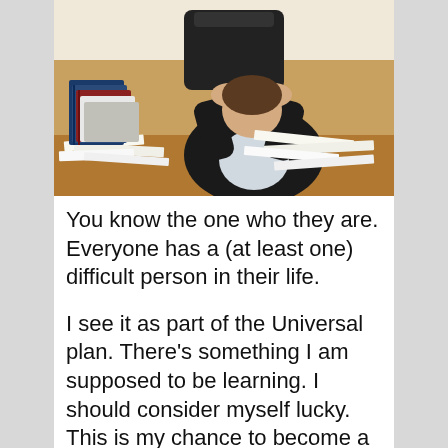[Figure (photo): A man in a black suit sitting at a desk overwhelmed by stacks of papers and binders, with his head bowed down and hands clasped on top of his head, suggesting stress or frustration.]
You know the one who they are. Everyone has a (at least one) difficult person in their life.
I see it as part of the Universal plan. There's something I am supposed to be learning. I should consider myself lucky. This is my chance to become a better person, to grow, to